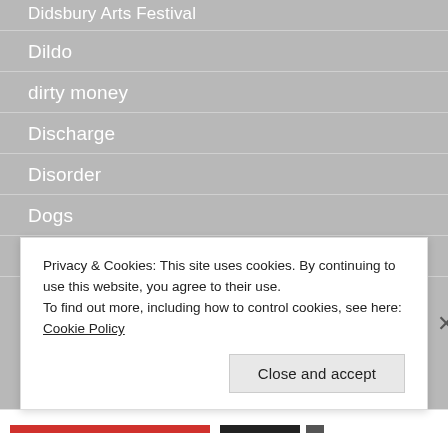Didsbury Arts Festival
Dildo
dirty money
Discharge
Disorder
Dogs
Domesticity
Privacy & Cookies: This site uses cookies. By continuing to use this website, you agree to their use.
To find out more, including how to control cookies, see here: Cookie Policy
Close and accept